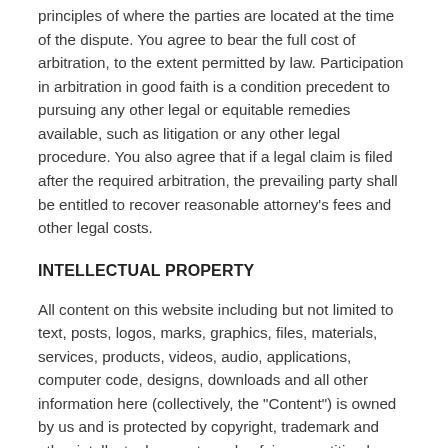principles of where the parties are located at the time of the dispute. You agree to bear the full cost of arbitration, to the extent permitted by law. Participation in arbitration in good faith is a condition precedent to pursuing any other legal or equitable remedies available, such as litigation or any other legal procedure. You also agree that if a legal claim is filed after the required arbitration, the prevailing party shall be entitled to recover reasonable attorney's fees and other legal costs.
INTELLECTUAL PROPERTY
All content on this website including but not limited to text, posts, logos, marks, graphics, files, materials, services, products, videos, audio, applications, computer code, designs, downloads and all other information here (collectively, the "Content") is owned by us and is protected by copyright, trademark and other intellectual property and unfair competition laws with the exception of any content from others that we are lawfully permitted to use. You agree not to duplicate, republish, distribute